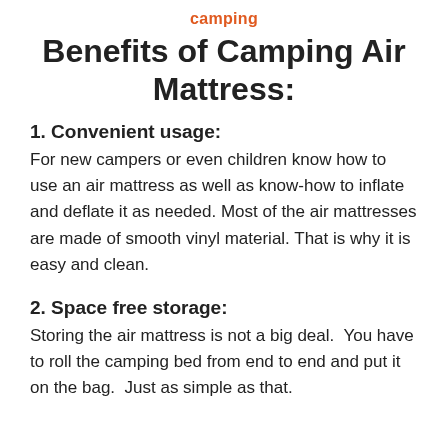camping
Benefits of Camping Air Mattress:
1. Convenient usage:
For new campers or even children know how to use an air mattress as well as know-how to inflate and deflate it as needed. Most of the air mattresses are made of smooth vinyl material. That is why it is easy and clean.
2. Space free storage:
Storing the air mattress is not a big deal. You have to roll the camping bed from end to end and put it on the bag. Just as simple as that.